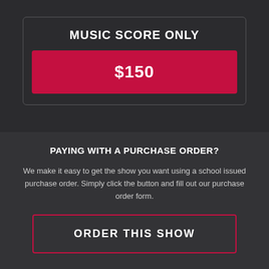MUSIC SCORE ONLY
$150
PAYING WITH A PURCHASE ORDER?
We make it easy to get the show you want using a school issued purchase order. Simply click the button and fill out our purchase order form.
ORDER THIS SHOW